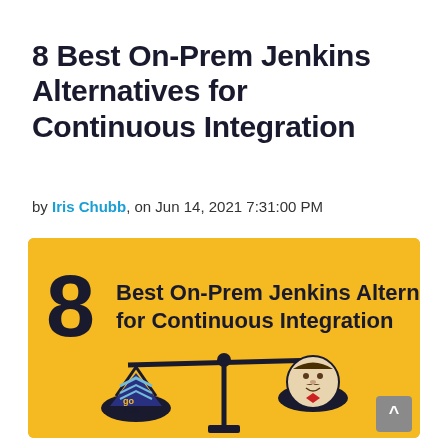8 Best On-Prem Jenkins Alternatives for Continuous Integration
by Iris Chubb, on Jun 14, 2021 7:31:00 PM
[Figure (illustration): Yellow/golden banner infographic with text '8 Best On-Prem Jenkins Alternatives for Continuous Integration' and an illustration of a balance scale with logos in each pan — the left pan contains the IBM/Go CD logo and the right pan contains the Jenkins butler logo.]